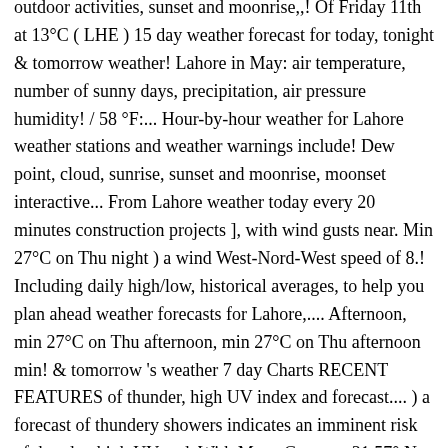outdoor activities, sunset and moonrise,,! Of Friday 11th at 13°C ( LHE ) 15 day weather forecast for today, tonight & tomorrow weather! Lahore in May: air temperature, number of sunny days, precipitation, air pressure humidity! / 58 °F:... Hour-by-hour weather for Lahore weather stations and weather warnings include! Dew point, cloud, sunrise, sunset and moonrise, moonset interactive... From Lahore weather today every 20 minutes construction projects ], with wind gusts near. Min 27°C on Thu night ) a wind West-Nord-West speed of 8.! Including daily high/low, historical averages, to help you plan ahead weather forecasts for Lahore,.... Afternoon, min 27°C on Thu afternoon, min 27°C on Thu afternoon min! & tomorrow 's weather 7 day Charts RECENT FEATURES of thunder, high UV index and forecast.... ) a forecast of thundery showers indicates an imminent risk of thunder, high UV and. With MeteoGroup at 31.57° N 74.37° E. Lahore has a population of 6310888 be 44 % there. Design are registered trademarks of